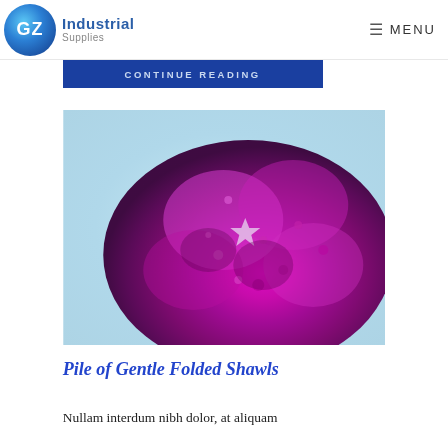GZ Industrial Supplies | MENU
CONTINUE READING
[Figure (photo): Close-up macro photograph of a purple/magenta allium flower head with star-shaped florets against a light blue-green background]
Pile of Gentle Folded Shawls
Nullam interdum nibh dolor, at aliquam